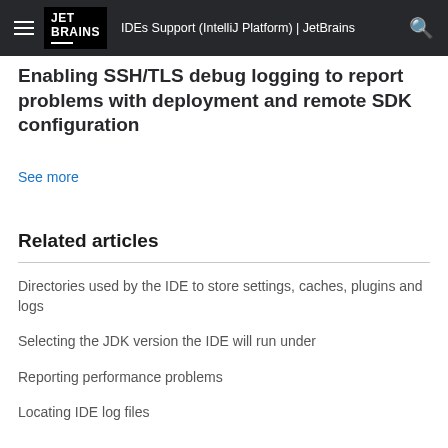IDEs Support (IntelliJ Platform) | JetBrains
Enabling SSH/TLS debug logging to report problems with deployment and remote SDK configuration
See more
Related articles
Directories used by the IDE to store settings, caches, plugins and logs
Selecting the JDK version the IDE will run under
Reporting performance problems
Locating IDE log files